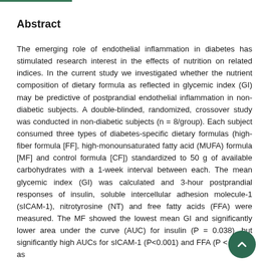Abstract
The emerging role of endothelial inflammation in diabetes has stimulated research interest in the effects of nutrition on related indices. In the current study we investigated whether the nutrient composition of dietary formula as reflected in glycemic index (GI) may be predictive of postprandial endothelial inflammation in non-diabetic subjects. A double-blinded, randomized, crossover study was conducted in non-diabetic subjects (n = 8/group). Each subject consumed three types of diabetes-specific dietary formulas (high-fiber formula [FF], high-monounsaturated fatty acid (MUFA) formula [MF] and control formula [CF]) standardized to 50 g of available carbohydrates with a 1-week interval between each. The mean glycemic index (GI) was calculated and 3-hour postprandial responses of insulin, soluble intercellular adhesion molecule-1 (sICAM-1), nitrotyrosine (NT) and free fatty acids (FFA) were measured. The MF showed the lowest mean GI and significantly lower area under the curve (AUC) for insulin (P = 0.038), but significantly high AUCs for sICAM-1 (P<0.001) and FFA (P < 0.001) as